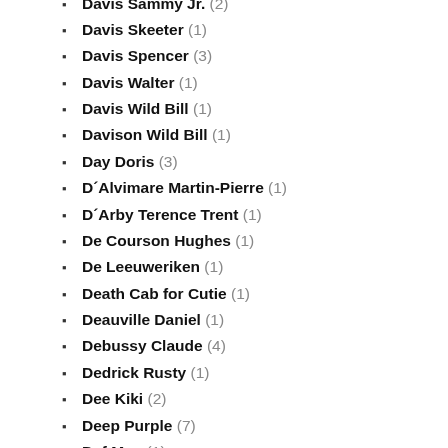Davis Sammy Jr. (2)
Davis Skeeter (1)
Davis Spencer (3)
Davis Walter (1)
Davis Wild Bill (1)
Davison Wild Bill (1)
Day Doris (3)
D´Alvimare Martin-Pierre (1)
D´Arby Terence Trent (1)
De Courson Hughes (1)
De Leeuweriken (1)
Death Cab for Cutie (1)
Deauville Daniel (1)
Debussy Claude (4)
Dedrick Rusty (1)
Dee Kiki (2)
Deep Purple (7)
Def Mos (1)
Defaye Jean-Michel (1)
Degen Bob (1)
DeJohnette Jack (2)